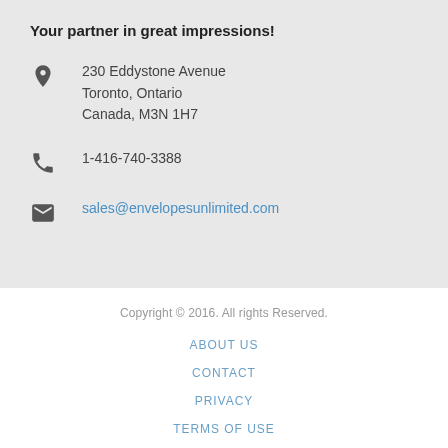Your partner in great impressions!
230 Eddystone Avenue
Toronto, Ontario
Canada, M3N 1H7
1-416-740-3388
sales@envelopesunlimited.com
Copyright © 2016. All rights Reserved.
ABOUT US
CONTACT
PRIVACY
TERMS OF USE